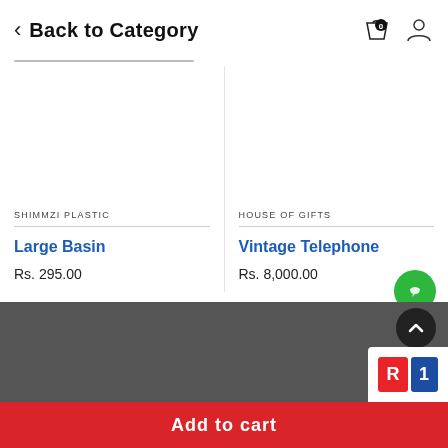< Back to Category
SHIMMZI PLASTIC
Large Basin
Rs. 295.00
HOUSE OF GIFTS
Vintage Telephone
Rs. 8,000.00
Add to cart